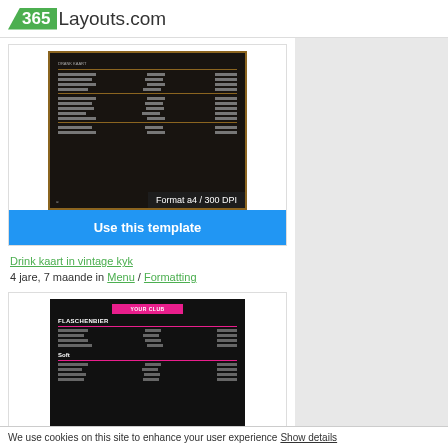365Layouts.com
[Figure (screenshot): Dark vintage-style drink menu template thumbnail showing rows of menu items with prices, bordered with brown/gold border. Format tag reads 'Format a4 / 300 DPI']
Use this template
Drink kaart in vintage kyk
4 jare, 7 maande in Menu / Formatting
[Figure (screenshot): Dark club drink menu template thumbnail showing 'YOUR CLUB' pink label at top, FLASCHENBIER section heading, rows for beer items, and a Soft drinks section below.]